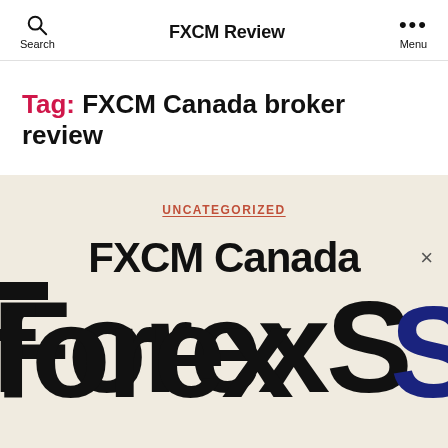Search | FXCM Review | Menu
Tag: FXCM Canada broker review
UNCATEGORIZED
FXCM Canada
[Figure (logo): Partial logo showing 'ForexS' in large bold black and dark blue font on a beige/cream background]